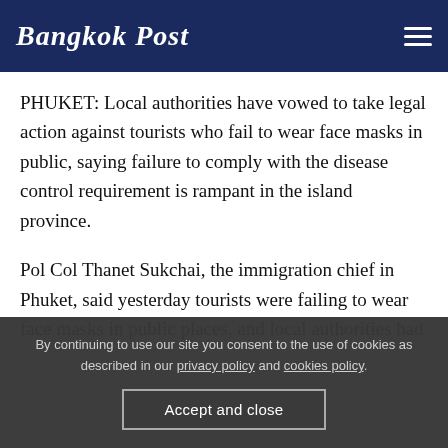Bangkok Post
PHUKET: Local authorities have vowed to take legal action against tourists who fail to wear face masks in public, saying failure to comply with the disease control requirement is rampant in the island province.
Pol Col Thanet Sukchai, the immigration chief in Phuket, said yesterday tourists were failing to wear face masks in public places, and local authorities had
By continuing to use our site you consent to the use of cookies as described in our privacy policy and cookies policy.
Accept and close